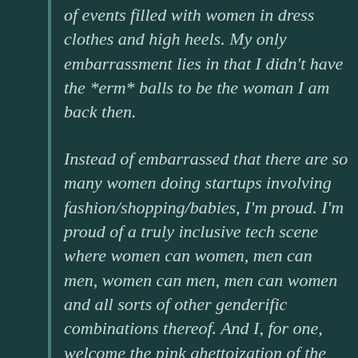of events filled with women in dress clothes and high heels. My only embarrassment lies in that I didn't have the *erm* balls to be the woman I am back then.
Instead of embarrassed that there are so many women doing startups involving fashion/shopping/babies, I'm proud. I'm proud of a truly inclusive tech scene where women can women, men can men, women can men, men can women and all sorts of other genderific combinations thereof. And I, for one, welcome the pink ghettoization of the tech startup scene